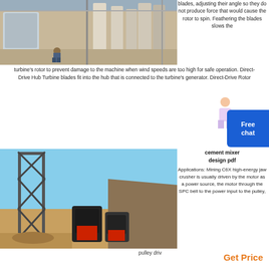[Figure (photo): Industrial facility interior with worker and large cylindrical equipment]
blades, adjusting their angle so they do not produce force that would cause the rotor to spin. Feathering the blades slows the turbine's rotor to prevent damage to the machine when wind speeds are too high for safe operation. Direct-Drive Hub Turbine blades fit into the hub that is connected to the turbine's generator. Direct-Drive Rotor
Get P...
[Figure (photo): Mining/quarry site with industrial crane structure and jaw crusher machinery]
cement mixer design pdf
Applications: Mining C6X high-energy jaw crusher is usually driven by the motor as a power source, the motor through the SPC belt to the power input to the pulley,
pulley driv
Get Price